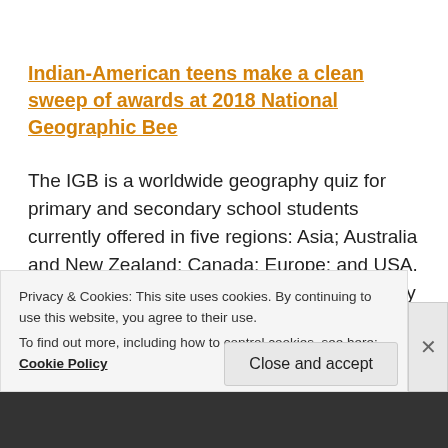Indian-American teens make a clean sweep of awards at 2018 National Geographic Bee
The IGB is a worldwide geography quiz for primary and secondary school students currently offered in five regions: Asia; Australia and New Zealand; Canada; Europe; and USA. The regional championships are held annually and the world championships biennially. The inaugural IGB world championships were held July 11–17
Privacy & Cookies: This site uses cookies. By continuing to use this website, you agree to their use.
To find out more, including how to control cookies, see here: Cookie Policy
Close and accept